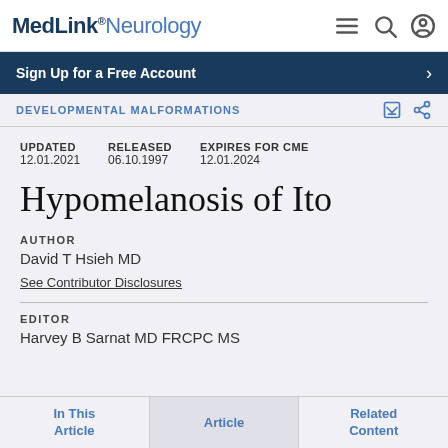MedLink® Neurology
Sign Up for a Free Account
DEVELOPMENTAL MALFORMATIONS
UPDATED 12.01.2021  RELEASED 06.10.1997  EXPIRES FOR CME 12.01.2024
Hypomelanosis of Ito
AUTHOR
David T Hsieh MD
See Contributor Disclosures
EDITOR
Harvey B Sarnat MD FRCPC MS
In This Article   Article   Related Content